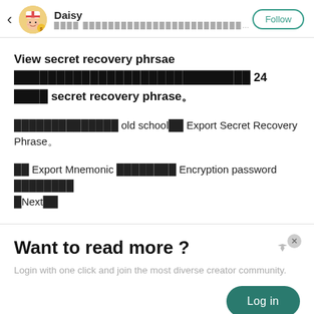Daisy | Follow
View secret recovery phrsae ที่มีทั้งหมด 24 คำใน secret recovery phrase。
แบบเก่าคลาสสิก old schoolคือ Export Secret Recovery Phrase。
กด Export Mnemonic ใส่ข้อมูล Encryption password แล้วกด NextจบNext！
Want to read more ?
Login with one click and join the most diverse creator community.